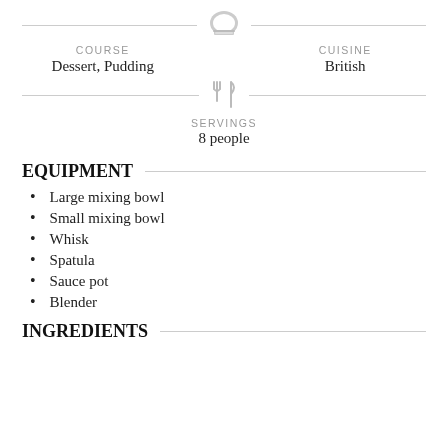COURSE
Dessert, Pudding
CUISINE
British
SERVINGS
8 people
EQUIPMENT
Large mixing bowl
Small mixing bowl
Whisk
Spatula
Sauce pot
Blender
INGREDIENTS